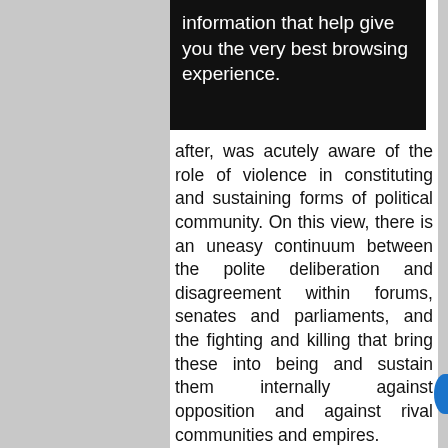[Figure (screenshot): Black overlay box with white text reading 'information that help give you the very best browsing experience.']
after, was acutely aware of the role of violence in constituting and sustaining forms of political community. On this view, there is an uneasy continuum between the polite deliberation and disagreement within forums, senates and parliaments, and the fighting and killing that bring these into being and sustain them internally against opposition and against rival communities and empires.
This understanding of recognition makes clear the link between free political deliberation amongst citizens and a coercive economic mode of production. The political, the sphere of freedom (citizenship, deliberation, plurality) is bound to the economic, the sphere of unfreedom (slavery,